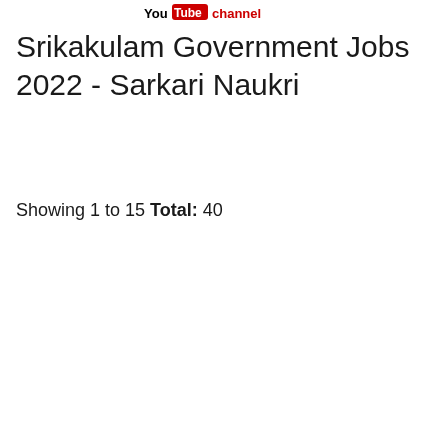[Figure (logo): YouTube channel logo/banner with red and black text reading 'YouTube channel']
Srikakulam Government Jobs 2022 - Sarkari Naukri
Showing 1 to 15 Total: 40